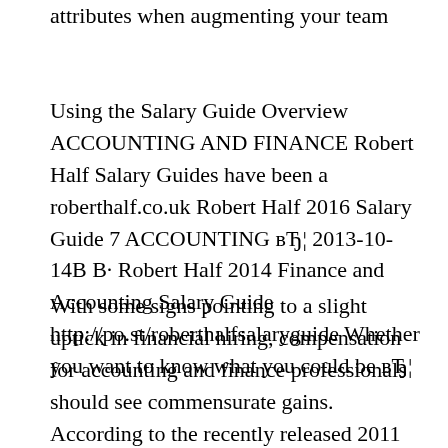attributes when augmenting your team
Using the Salary Guide Overview ACCOUNTING AND FINANCE Robert Half Salary Guides have been a roberthalf.co.uk Robert Half 2016 Salary Guide 7 ACCOUNTING вЂ¦ 2013-10-14В В· Robert Half 2014 Finance and Accounting Salary Guide http://po.st/roberthalfsalaryguide Whether you want to know what you could be вЂ¦
With some signs pointing to a slight uptick in financial hiring, compensation for accounting and finance professionals should see commensurate gains. According to the recently released 2011 Salary Guide from Robert Half, starting salaries in these fields are expected to rise an average of 3.1 percent in the coming year.